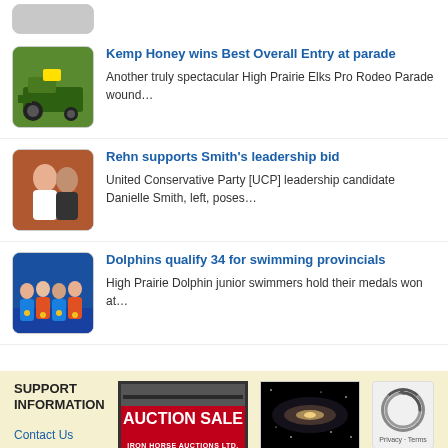[Figure (photo): Partial thumbnail at top of page, cut off]
Kemp Honey wins Best Overall Entry at parade
Another truly spectacular High Prairie Elks Pro Rodeo Parade wound…
[Figure (photo): Person on green tractor/John Deere vehicle at parade]
Rehn supports Smith's leadership bid
United Conservative Party [UCP] leadership candidate Danielle Smith, left, poses…
[Figure (photo): Two people posing together, man and woman]
Dolphins qualify 34 for swimming provincials
High Prairie Dolphin junior swimmers hold their medals won at…
[Figure (photo): Group of young swimmers holding medals]
SUPPORT INFORMATION
Contact Us
About The Smoky
[Figure (advertisement): Auction Sale advertisement for Iron Horse Auctions Ltd. with red banner and click here for next auction text]
[Figure (photo): Galaxy/space image on black background]
[Figure (other): reCAPTCHA widget with Privacy and Terms links]